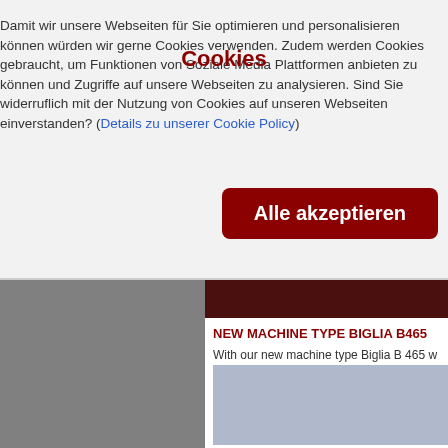Cookies
Damit wir unsere Webseiten für Sie optimieren und personalisieren können würden wir gerne Cookies verwenden. Zudem werden Cookies gebraucht, um Funktionen von Soziale Media Plattformen anbieten zu können und Zugriffe auf unsere Webseiten zu analysieren. Sind Sie widerruflich mit der Nutzung von Cookies auf unseren Webseiten einverstanden? (Details zu unserer Cookie Policy)
Alle akzeptieren
[Figure (photo): Gray image placeholder for machine photo on the left side]
[Figure (photo): Dark red/brown horizontal bar banner]
NEW MACHINE TYPE BIGLIA B465
With our new machine type Biglia B 465 w
[Figure (photo): Light blue-gray image placeholder for machine photo]